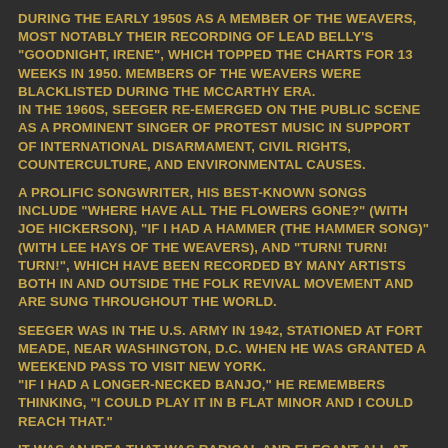during the early 1950s as a member of The Weavers, most notably their recording of Lead Belly's "Goodnight, Irene", which topped the charts for 13 weeks in 1950. Members of The Weavers were blacklisted during the McCarthy Era. In the 1960s, Seeger re-emerged on the public scene as a prominent singer of protest music in support of international disarmament, civil rights, counterculture, and environmental causes.
A prolific songwriter, his best-known songs include "Where Have All the Flowers Gone?" (with Joe Hickerson), "If I Had a Hammer (The Hammer Song)" (with Lee Hays of the Weavers), and "Turn! Turn! Turn!", which have been recorded by many artists both in and outside the folk revival movement and are sung throughout the world.
Seeger was in the U.S. Army in 1942, stationed at Fort Meade, near Washington, D.C. when he was granted a weekend pass to visit New York. "If I had a longer-necked banjo," he remembers thinking, "I could play it in B Flat minor and I could reach that."
It was an idea that was radical and elegant all at once, and Seeger acted on it quickly, dragging his Vega Whyte Laydie down to luthier John D'Angelico's Lower East Side shop for what amounted to major surgery.